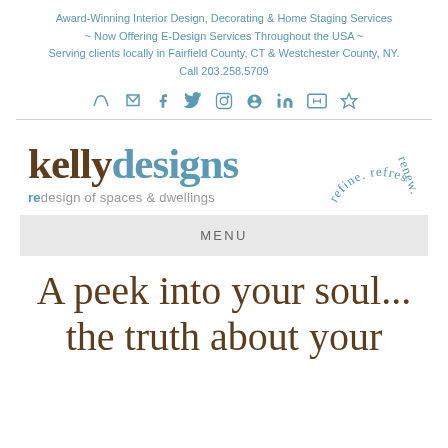Award-Winning Interior Design, Decorating & Home Staging Services ~ Now Offering E-Design Services Throughout the USA ~ Serving clients locally in Fairfield County, CT & Westchester County, NY. Call 203.258.5709
[Figure (infographic): Row of social media icons: phone, email, facebook, twitter, instagram, pinterest, linkedin, youtube, houzz]
[Figure (logo): Kelly Designs logo with curved text 'refine. refresh. renew.' and tagline 're design of spaces & dwellings']
MENU
A peek into your soul... the truth about your